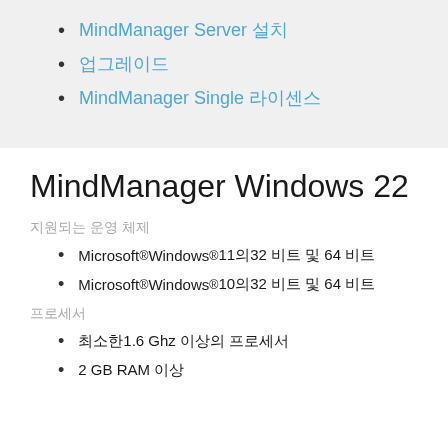MindManager Server 설치
업그레이드
MindManager Single 라이선스
MindManager Windows 22
지원되는 운영 체제
Microsoft® Windows® 11의32 비트 및 64 비트
Microsoft® Windows® 10의32 비트 및 64 비트
프로세서
최소한1.6 Ghz 이상의 프로세서
2 GB RAM 이상